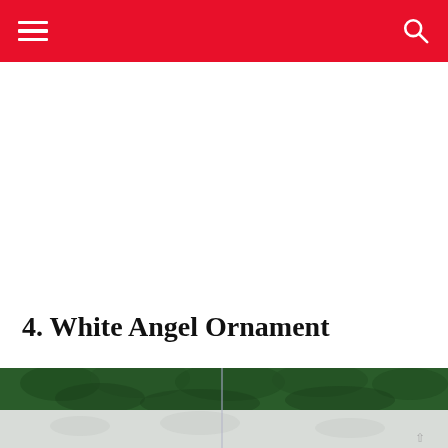4. White Angel Ornament
[Figure (photo): Photograph of green Christmas tree branches (top portion) and a light grey/white snowy or frosted surface (bottom portion), likely showing a white angel ornament in context.]